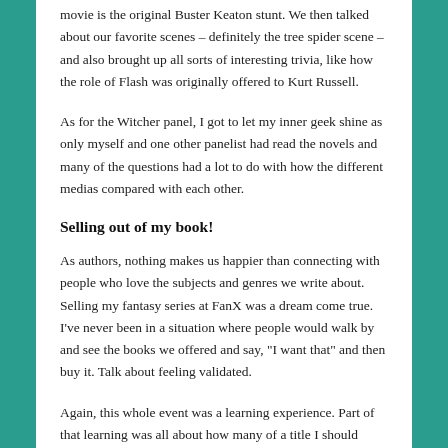movie is the original Buster Keaton stunt. We then talked about our favorite scenes – definitely the tree spider scene – and also brought up all sorts of interesting trivia, like how the role of Flash was originally offered to Kurt Russell.
As for the Witcher panel, I got to let my inner geek shine as only myself and one other panelist had read the novels and many of the questions had a lot to do with how the different medias compared with each other.
Selling out of my book!
As authors, nothing makes us happier than connecting with people who love the subjects and genres we write about. Selling my fantasy series at FanX was a dream come true. I've never been in a situation where people would walk by and see the books we offered and say, "I want that" and then buy it. Talk about feeling validated.
Again, this whole event was a learning experience. Part of that learning was all about how many of a title I should ideally bring. Had I brought more, I could have easily sold more. I don't feel bad. As a first event, I had enough books to start a conversation.